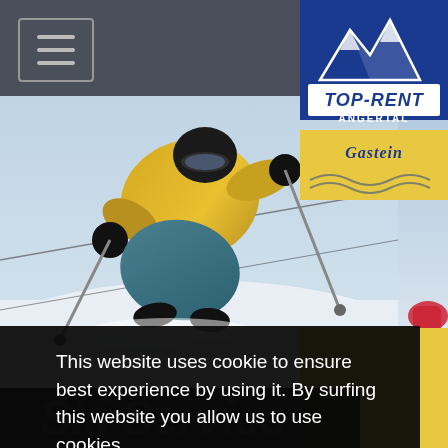[Figure (logo): Top-Rent Angertal Gastein logo with mountain graphic, blue background, yellow Gastein section]
[Figure (photo): Skier in yellow jacket and teal pants skiing on snow slope, action shot]
This website uses cookie to ensure best experience by using it. By surfing this website you allow us to use cookies.
More information
OK
Ski Service